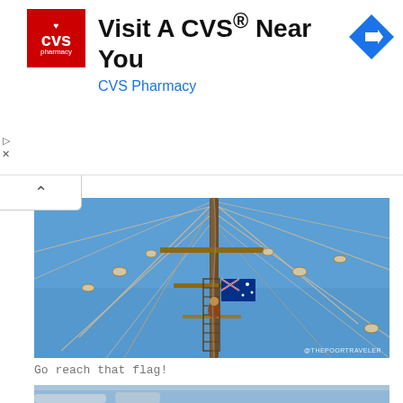[Figure (other): CVS Pharmacy advertisement banner with logo, headline 'Visit A CVS® Near You', subtext 'CVS Pharmacy', and a blue navigation/direction icon on the right.]
[Figure (photo): Photograph taken from below looking up at the mast and rigging of a tall sailing ship against a bright blue sky. An Australian flag is visible on the mast, and a person can be seen climbing the rigging. A watermark '@THEPOORTRAVELER' appears in the bottom right corner.]
Go reach that flag!
[Figure (photo): Partial bottom image showing sky and clouds, cut off at the page edge.]